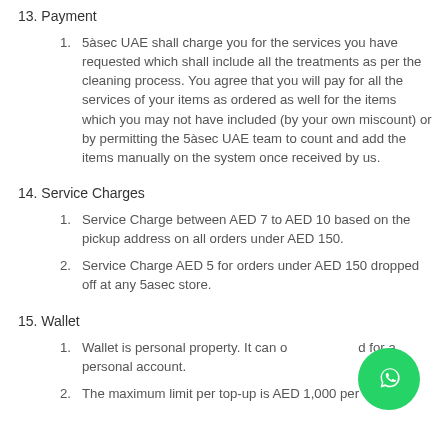13. Payment
5àsec UAE shall charge you for the services you have requested which shall include all the treatments as per the cleaning process. You agree that you will pay for all the services of your items as ordered as well for the items which you may not have included (by your own miscount) or by permitting the 5àsec UAE team to count and add the items manually on the system once received by us.
14. Service Charges
Service Charge between AED 7 to AED 10 based on the pickup address on all orders under AED 150.
Service Charge AED 5 for orders under AED 150 dropped off at any 5asec store.
15. Wallet
Wallet is personal property. It can only be used for a personal account.
The maximum limit per top-up is AED 1,000 per